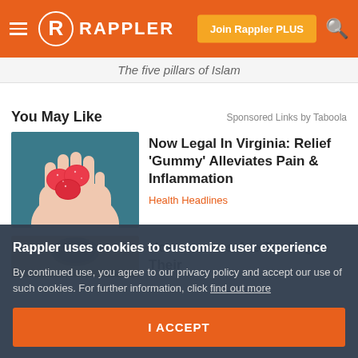Rappler — Join Rappler PLUS
The five pillars of Islam
You May Like
Sponsored Links by Taboola
[Figure (photo): Hand holding red gummy candies]
Now Legal In Virginia: Relief 'Gummy' Alleviates Pain & Inflammation
Health Headlines
[Figure (photo): Partial image of second ad item]
Homeowners Are Trading In Their
Rappler uses cookies to customize user experience
By continued use, you agree to our privacy policy and accept our use of such cookies. For further information, click find out more
I ACCEPT